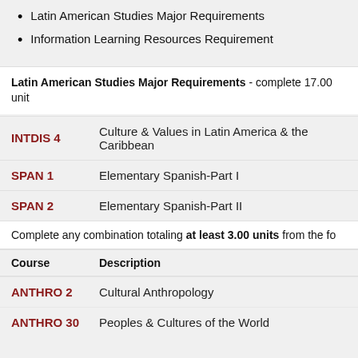Latin American Studies Major Requirements
Information Learning Resources Requirement
Latin American Studies Major Requirements - complete 17.00 units
INTDIS 4  Culture & Values in Latin America & the Caribbean
SPAN 1  Elementary Spanish-Part I
SPAN 2  Elementary Spanish-Part II
Complete any combination totaling at least 3.00 units from the fo
| Course | Description |
| --- | --- |
| ANTHRO 2 | Cultural Anthropology |
| ANTHRO 30 | Peoples & Cultures of the World |